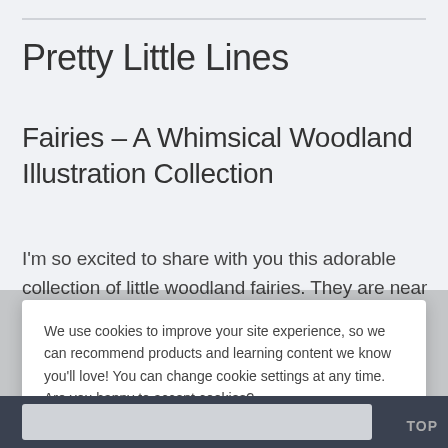Pretty Little Lines
Fairies – A Whimsical Woodland Illustration Collection
I'm so excited to share with you this adorable collection of little woodland fairies. They are near and dear to my
We use cookies to improve your site experience, so we can recommend products and learning content we know you'll love! You can change cookie settings at any time. Are you happy to accept cookies?
Manage Cookie Preferences
Yes I'm Happy